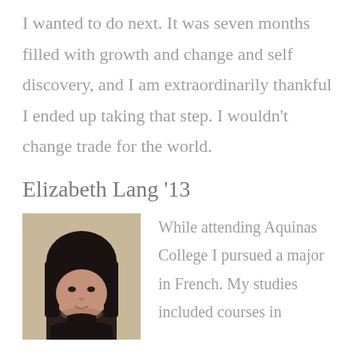I wanted to do next. It was seven months filled with growth and change and self discovery, and I am extraordinarily thankful I ended up taking that step. I wouldn't change trade for the world.
Elizabeth Lang '13
[Figure (photo): Headshot of Elizabeth Lang, a young woman with dark bangs and long dark hair, wearing a dark turtleneck, against a light background.]
While attending Aquinas College I pursued a major in French. My studies included courses in